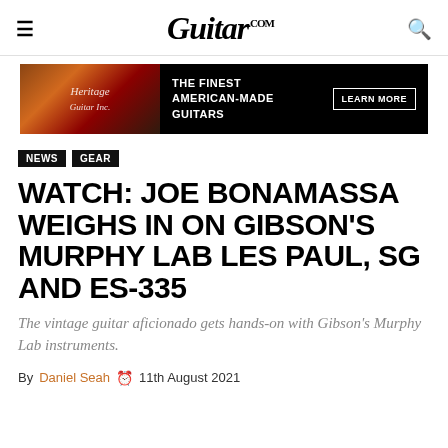Guitar.com
[Figure (infographic): Heritage Guitar advertisement banner: guitar image on left with Heritage Guitar logo, black background on right with text 'THE FINEST AMERICAN-MADE GUITARS' and 'LEARN MORE' button]
NEWS
GEAR
WATCH: JOE BONAMASSA WEIGHS IN ON GIBSON'S MURPHY LAB LES PAUL, SG AND ES-335
The vintage guitar aficionado gets hands-on with Gibson's Murphy Lab instruments.
By Daniel Seah  11th August 2021